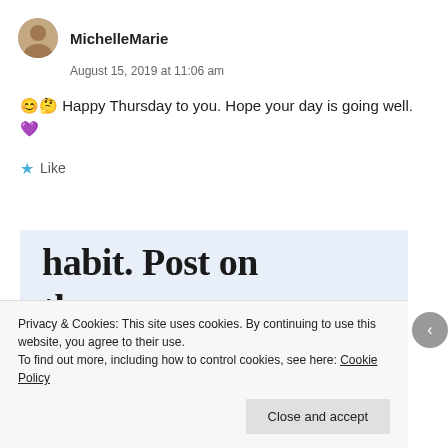MichelleMarie
August 15, 2019 at 11:06 am
😊🤔 Happy Thursday to you. Hope your day is going well. 💜
★ Like
[Figure (screenshot): WordPress app advertisement banner with large text 'habit. Post on the go.' and 'GET THE APP' button with WordPress logo]
Privacy & Cookies: This site uses cookies. By continuing to use this website, you agree to their use. To find out more, including how to control cookies, see here: Cookie Policy
Close and accept